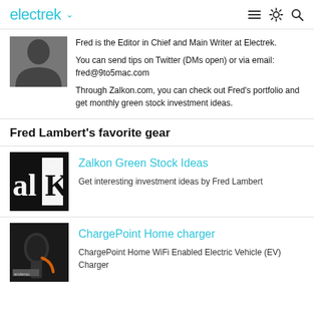electrek
Fred is the Editor in Chief and Main Writer at Electrek.
You can send tips on Twitter (DMs open) or via email: fred@9to5mac.com
Through Zalkon.com, you can check out Fred's portfolio and get monthly green stock investment ideas.
Fred Lambert's favorite gear
[Figure (logo): Zalkon logo - black and white letters 'alK' on dark background]
Zalkon Green Stock Ideas
Get interesting investment ideas by Fred Lambert
[Figure (photo): ChargePoint Home charger device photo on dark background]
ChargePoint Home charger
ChargePoint Home WiFi Enabled Electric Vehicle (EV) Charger